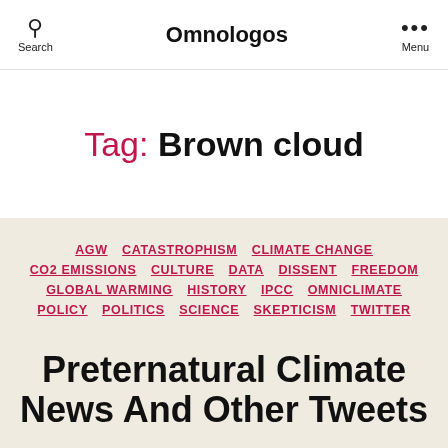Search | Omnologos | Menu
Tag: Brown cloud
AGW CATASTROPHISM CLIMATE CHANGE CO2 EMISSIONS CULTURE DATA DISSENT FREEDOM GLOBAL WARMING HISTORY IPCC OMNICLIMATE POLICY POLITICS SCIENCE SKEPTICISM TWITTER
Preternatural Climate News And Other Tweets